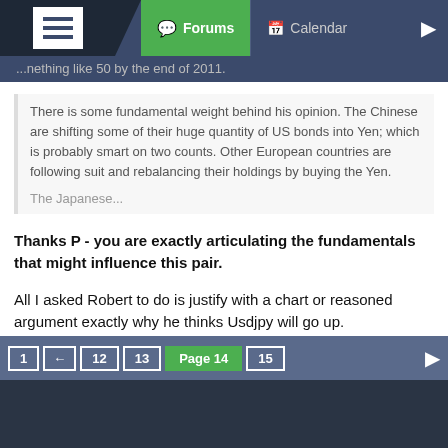Forums | Calendar
...nething like 50 by the end of 2011.
There is some fundamental weight behind his opinion. The Chinese are shifting some of their huge quantity of US bonds into Yen; which is probably smart on two counts. Other European countries are following suit and rebalancing their holdings by buying the Yen.
The Japanese...
Thanks P - you are exactly articulating the fundamentals that might influence this pair.
All I asked Robert to do is justify with a chart or reasoned argument exactly why he thinks Usdjpy will go up.
If he can't or won't do that what is the point. FF is a place for Nb's to learn how to trade. Bald statements like ' I think UJ will go back to 90' from the muppets on this thread help no-one and really piss me off.
1 ← 12 13 Page 14 15